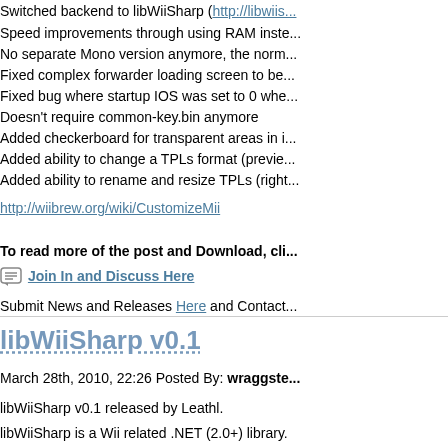Switched backend to libWiiSharp (http://libwiis...
Speed improvements through using RAM inste...
No separate Mono version anymore, the norm...
Fixed complex forwarder loading screen to be...
Fixed bug where startup IOS was set to 0 whe...
Doesn't require common-key.bin anymore
Added checkerboard for transparent areas in i...
Added ability to change a TPLs format (previe...
Added ability to rename and resize TPLs (right...
http://wiibrew.org/wiki/CustomizeMii
To read more of the post and Download, cli...
Join In and Discuss Here
Submit News and Releases Here and Contact...
libWiiSharp v0.1
March 28th, 2010, 22:26 Posted By: wraggste...
libWiiSharp v0.1 released by Leathl.
libWiiSharp is a Wii related .NET (2.0+) library. It can be used with any .NET language to easil...
All public functions are documented and most s... There are also some example applications tha...